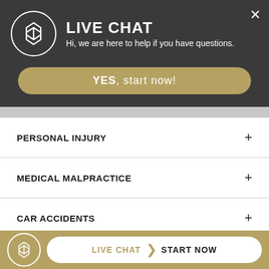[Figure (screenshot): Live chat widget header with logo, title 'LIVE CHAT', subtitle text, YES start now button, and close X button on dark background]
PERSONAL INJURY +
MEDICAL MALPRACTICE +
CAR ACCIDENTS +
DEFECTIVE DRUGS & DEVICES +
TRUCKING ACCIDENTS +
[Figure (screenshot): Bottom bar with logo circle, LIVE CHAT > START NOW button on gold background]